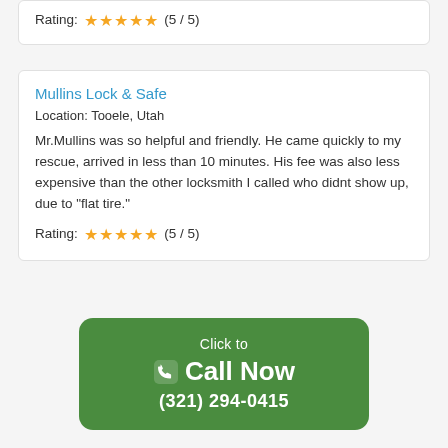Rating: ★★★★★ (5 / 5)
Mullins Lock & Safe
Location: Tooele, Utah
Mr.Mullins was so helpful and friendly. He came quickly to my rescue, arrived in less than 10 minutes. His fee was also less expensive than the other locksmith I called who didnt show up, due to "flat tire."
Rating: ★★★★★ (5 / 5)
[Figure (infographic): Green rounded button with phone icon reading Click to / Call Now / (321) 294-0415]